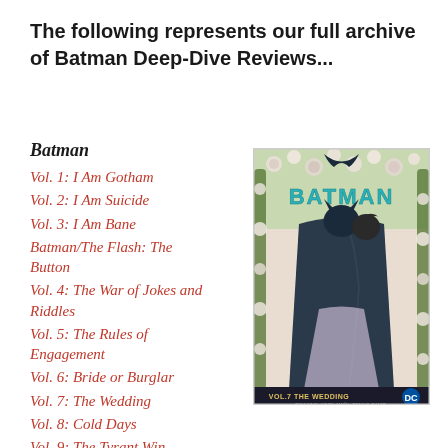The following represents our full archive of Batman Deep-Dive Reviews...
Batman
Vol. 1: I Am Gotham
Vol. 2: I Am Suicide
Vol. 3: I Am Bane
Batman/The Flash: The Button
Vol. 4: The War of Jokes and Riddles
Vol. 5: The Rules of Engagement
Vol. 6: Bride or Burglar
Vol. 7: The Wedding
Vol. 8: Cold Days
Vol. 9: The Tyrant Wing
[Figure (photo): Batman Vol. 7: The Wedding comic book cover showing Batman and Catwoman embracing under a floral arch with roses, teal BATMAN logo at top, DC logo at bottom right]